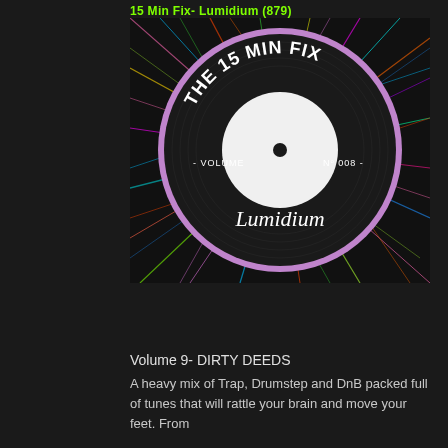15 Min Fix- Lumidium (879)
[Figure (illustration): Vinyl record album art for 'The 15 Min Fix' showing a black vinyl record with colorful laser light streaks in the background. Text on the record reads 'THE 15 MIN FIX', '- VOLUME', 'No 008 -', and 'Lumidium' in cursive. A large white circle represents the record label center.]
Volume 9- DIRTY DEEDS
A heavy mix of Trap, Drumstep and DnB packed full of tunes that will rattle your brain and move your feet. From